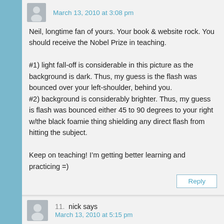March 13, 2010 at 3:08 pm
Neil, longtime fan of yours. Your book & website rock. You should receive the Nobel Prize in teaching.

#1) light fall-off is considerable in this picture as the background is dark. Thus, my guess is the flash was bounced over your left-shoulder, behind you.
#2) background is considerably brighter. Thus, my guess is flash was bounced either 45 to 90 degrees to your right w/the black foamie thing shielding any direct flash from hitting the subject.

Keep on teaching! I'm getting better learning and practicing =)
Reply
11.  nick says
March 13, 2010 at 5:15 pm